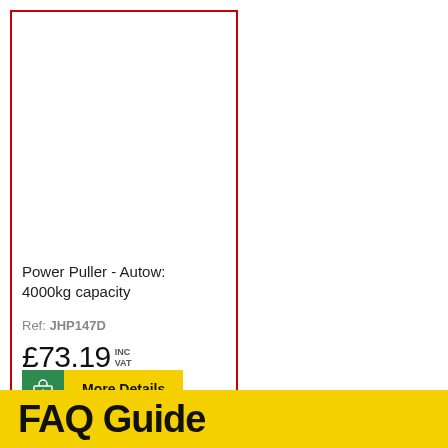Power Puller - Autow: 4000kg capacity
Ref: JHP147D
£73.19 INC VAT
More Details
FAQ Guide